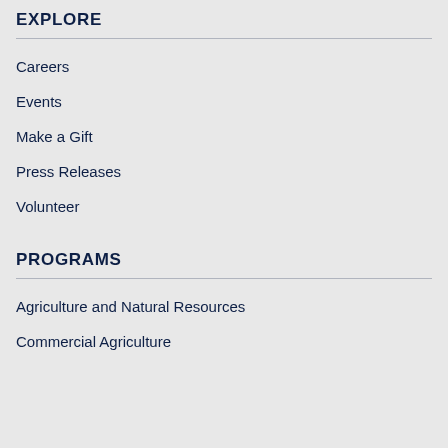EXPLORE
Careers
Events
Make a Gift
Press Releases
Volunteer
PROGRAMS
Agriculture and Natural Resources
Commercial Agriculture